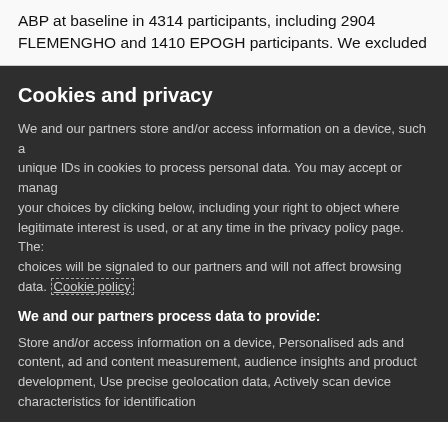ABP at baseline in 4314 participants, including 2904 FLEMENGHO and 1410 EPOGH participants. We excluded
Cookies and privacy
We and our partners store and/or access information on a device, such as unique IDs in cookies to process personal data. You may accept or manage your choices by clicking below, including your right to object where legitimate interest is used, or at any time in the privacy policy page. These choices will be signaled to our partners and will not affect browsing data. Cookie policy
We and our partners process data to provide:
Store and/or access information on a device, Personalised ads and content, ad and content measurement, audience insights and product development, Use precise geolocation data, Actively scan device characteristics for identification
List of Partners (vendors)
I Accept